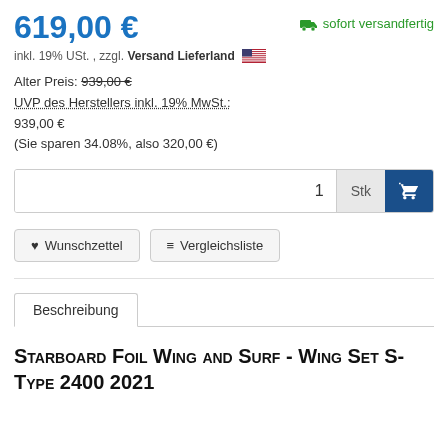619,00 €
sofort versandfertig
inkl. 19% USt. , zzgl. Versand Lieferland 🇺🇸
Alter Preis: 939,00 €
UVP des Herstellers inkl. 19% MwSt.:
939,00 €
(Sie sparen 34.08%, also 320,00 €)
1  Stk
♥ Wunschzettel
≡ Vergleichsliste
Beschreibung
Starboard Foil Wing and Surf - Wing Set S-Type 2400 2021